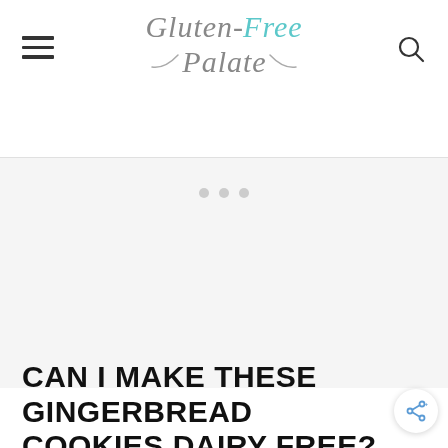Gluten-Free Palate
[Figure (other): Advertisement placeholder area with three grey dots indicating loading]
CAN I MAKE THESE GINGERBREAD COOKIES DAIRY FREE?